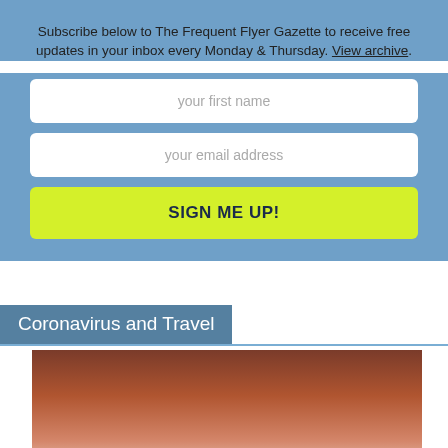Subscribe below to The Frequent Flyer Gazette to receive free updates in your inbox every Monday & Thursday. View archive.
[Figure (infographic): Newsletter subscription form with first name input, email address input, and a yellow SIGN ME UP! button on a blue background.]
Coronavirus and Travel
[Figure (photo): A photo showing a reddish-brown blurred sky background with a bright glowing light source near the bottom center, likely a sunset or aircraft light.]